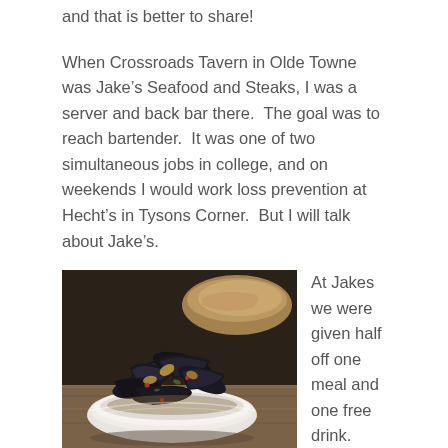and that is better to share!
When Crossroads Tavern in Olde Towne was Jake’s Seafood and Steaks, I was a server and back bar there.  The goal was to reach bartender.  It was one of two simultaneous jobs in college, and on weekends I would work loss prevention at Hecht’s in Tysons Corner.  But I will talk about Jake’s.
[Figure (photo): A bowl of mussels (Prince Edward Island mussels) in a white bowl, with bread visible in the background, on a wooden surface.]
At Jakes we were given half off one meal and one free drink.  After a long shift, that was very enticing!  They had Prince Edward Island mussels that were amazing, or crab dip, or fried oysters, or New England clam chowder!  So good on a cold day.  I nearly killed a coworker who didn’t know she was allergic to shellfish when I let her try the